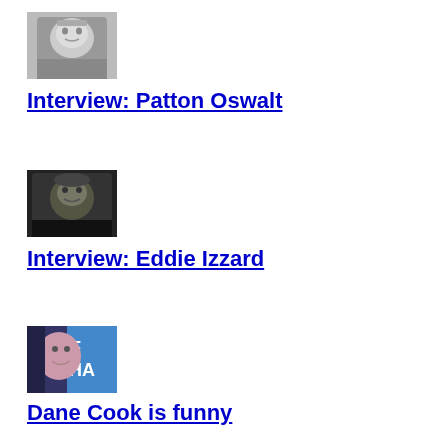[Figure (photo): Black and white headshot photo of Patton Oswalt]
Interview: Patton Oswalt
[Figure (photo): Dark photo headshot of Eddie Izzard]
Interview: Eddie Izzard
[Figure (photo): Colorful photo of Dane Cook]
Dane Cook is funny